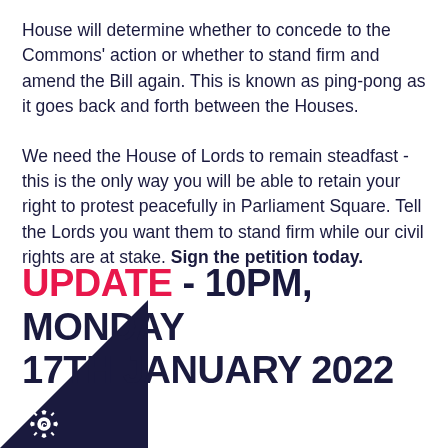House will determine whether to concede to the Commons' action or whether to stand firm and amend the Bill again. This is known as ping-pong as it goes back and forth between the Houses.
We need the House of Lords to remain steadfast - this is the only way you will be able to retain your right to protest peacefully in Parliament Square. Tell the Lords you want them to stand firm while our civil rights are at stake. Sign the petition today.
UPDATE - 10PM, MONDAY 17TH JANUARY 2022